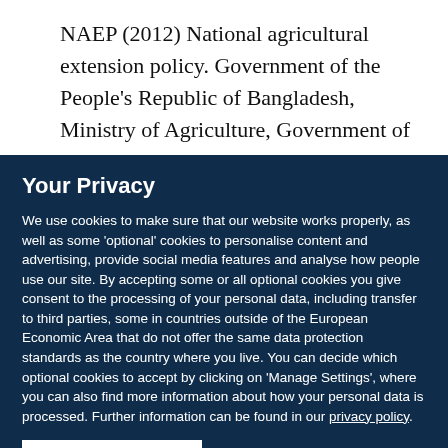NAEP (2012) National agricultural extension policy. Government of the People's Republic of Bangladesh, Ministry of Agriculture, Government of the People's
Your Privacy
We use cookies to make sure that our website works properly, as well as some 'optional' cookies to personalise content and advertising, provide social media features and analyse how people use our site. By accepting some or all optional cookies you give consent to the processing of your personal data, including transfer to third parties, some in countries outside of the European Economic Area that do not offer the same data protection standards as the country where you live. You can decide which optional cookies to accept by clicking on 'Manage Settings', where you can also find more information about how your personal data is processed. Further information can be found in our privacy policy.
Accept all cookies
Manage preferences